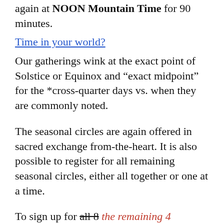again at NOON Mountain Time for 90 minutes.
Time in your world?
Our gatherings wink at the exact point of Solstice or Equinox and “exact midpoint” for the *cross-quarter days vs. when they are commonly noted.
The seasonal circles are again offered in sacred exchange from-the-heart. It is also possible to register for all remaining seasonal circles, either all together or one at a time.
To sign up for all 8 the remaining 4 seasonal circles, you can visit this link.
Within these sacred seasonal gatherings,